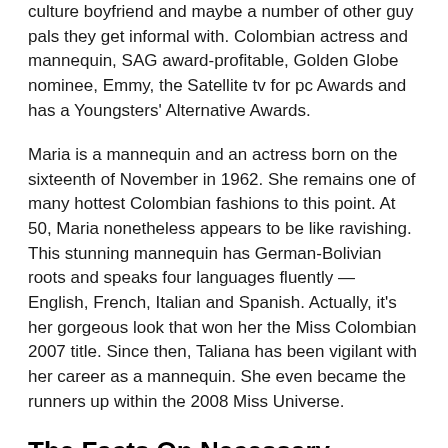culture boyfriend and maybe a number of other guy pals they get informal with. Colombian actress and mannequin, SAG award-profitable, Golden Globe nominee, Emmy, the Satellite tv for pc Awards and has a Youngsters' Alternative Awards.
Maria is a mannequin and an actress born on the sixteenth of November in 1962. She remains one of many hottest Colombian fashions to this point. At 50, Maria nonetheless appears to be like ravishing. This stunning mannequin has German-Bolivian roots and speaks four languages fluently — English, French, Italian and Spanish. Actually, it's her gorgeous look that won her the Miss Colombian 2007 title. Since then, Taliana has been vigilant with her career as a mannequin. She even became the runners up within the 2008 Miss Universe.
The Facts On Necessary Elements Of Women Of Colombia
Melissa was born in 1988, and if you check out any of her